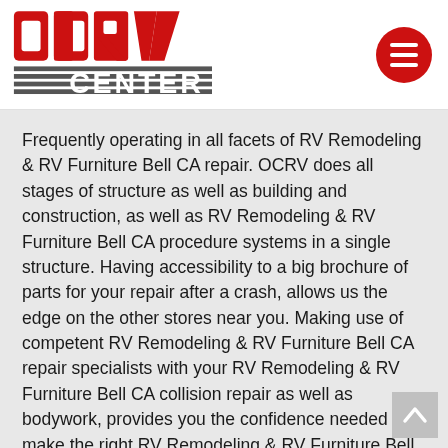OCRV CENTER logo and navigation menu
Frequently operating in all facets of RV Remodeling & RV Furniture Bell CA repair. OCRV does all stages of structure as well as building and construction, as well as RV Remodeling & RV Furniture Bell CA procedure systems in a single structure. Having accessibility to a big brochure of parts for your repair after a crash, allows us the edge on the other stores near you. Making use of competent RV Remodeling & RV Furniture Bell CA repair specialists with your RV Remodeling & RV Furniture Bell CA collision repair as well as bodywork, provides you the confidence needed to make the right RV Remodeling & RV Furniture Bell CA repair center choice. If your RV Remodeling & RV Furniture Bell CA has actually been involved in a collision or you are searching for RV Remodeling & RV Furniture Bell CA accident repair work to be completed near you, call us today. Whether your in need of a RV Remodeling & RV